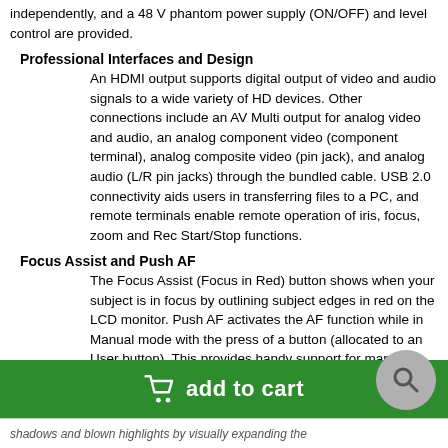independently, and a 48 V phantom power supply (ON/OFF) and level control are provided.
Professional Interfaces and Design
An HDMI output supports digital output of video and audio signals to a wide variety of HD devices. Other connections include an AV Multi output for analog video and audio, an analog component video (component terminal), analog composite video (pin jack), and analog audio (L/R pin jacks) through the bundled cable. USB 2.0 connectivity aids users in transferring files to a PC, and remote terminals enable remote operation of iris, focus, zoom and Rec Start/Stop functions.
Focus Assist and Push AF
The Focus Assist (Focus in Red) button shows when your subject is in focus by outlining subject edges in red on the LCD monitor. Push AF activates the AF function while in Manual mode with the press of a button (allocated to an User button). This provides handy support for manual focusing.
Scene Files
Six scene settings allow for immediate response to a variety of shooting situations.
shadows and blown highlights by visually expanding the